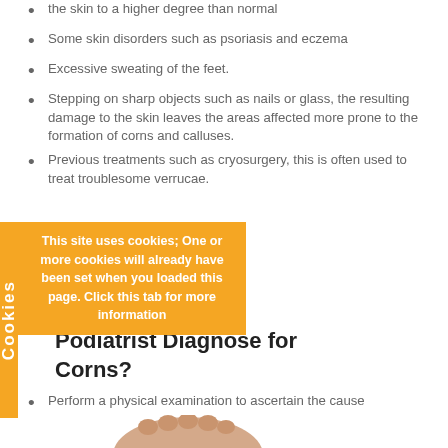the skin to a higher degree than normal
Some skin disorders such as psoriasis and eczema
Excessive sweating of the feet.
Stepping on sharp objects such as nails or glass, the resulting damage to the skin leaves the areas affected more prone to the formation of corns and calluses.
Previous treatments such as cryosurgery, this is often used to treat troublesome verrucae.
Can our Podiatrist Diagnose for Corns?
Perform a physical examination to ascertain the cause
[Figure (photo): Photo of a human foot, partial view showing toes and top of foot with skin-colored tone.]